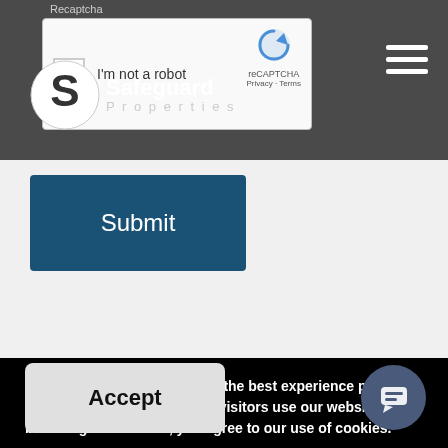Recaptcha
[Figure (screenshot): reCAPTCHA widget with checkbox 'I'm not a robot', reCAPTCHA logo and Privacy + Terms links]
[Figure (logo): Safeguard Properties logo - white S on dark circular badge with text Safeguard Properties]
[Figure (other): Hamburger menu icon with three white horizontal lines]
[Figure (screenshot): Submit button - blue rectangular button with white text 'Submit']
Cookies enable us to provide the best experience possible and help us understand how visitors use our website. By browsing our website, you agree to our use of cookies.
[Figure (screenshot): Accept button - light gray rounded rectangle with bold text 'Accept']
[Figure (other): Chat bubble icon - dark blue/gray circle with chat icon]